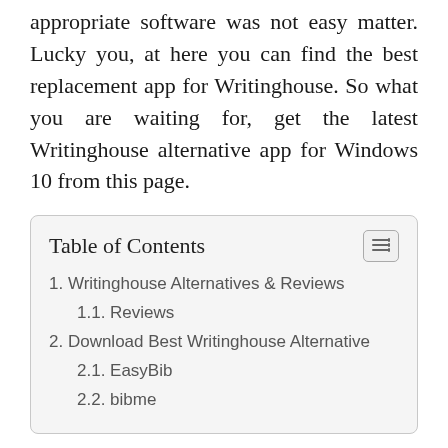appropriate software was not easy matter. Lucky you, at here you can find the best replacement app for Writinghouse. So what you are waiting for, get the latest Writinghouse alternative app for Windows 10 from this page.
| Table of Contents |
| 1. Writinghouse Alternatives & Reviews |
| 1.1. Reviews |
| 2. Download Best Writinghouse Alternative |
| 2.1. EasyBib |
| 2.2. bibme |
Writinghouse Alternatives & Reviews